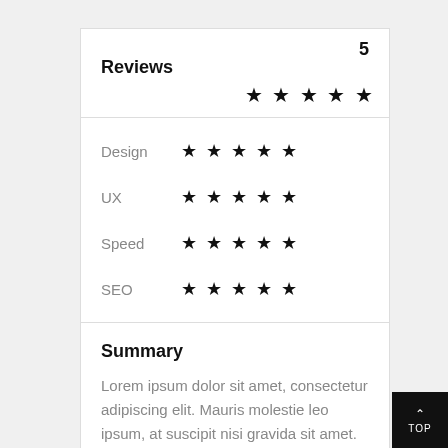Reviews
5 ★★★★★
Design ★★★★★
UX ★★★★★
Speed ★★★★★
SEO ★★★★★
Summary
Lorem ipsum dolor sit amet, consectetur adipiscing elit. Mauris molestie leo ipsum, at suscipit nisi gravida sit amet. Suspendisse